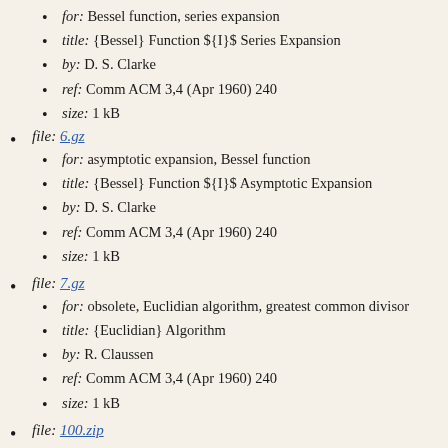file: [truncated/link at top]
for: Bessel function, series expansion
title: {Bessel} Function ${I}$ Series Expansion
by: D. S. Clarke
ref: Comm ACM 3,4 (Apr 1960) 240
size: 1 kB
file: 6.gz
for: asymptotic expansion, Bessel function
title: {Bessel} Function ${I}$ Asymptotic Expansion
by: D. S. Clarke
ref: Comm ACM 3,4 (Apr 1960) 240
size: 1 kB
file: 7.gz
for: obsolete, Euclidian algorithm, greatest common divisor
title: {Euclidian} Algorithm
by: R. Claussen
ref: Comm ACM 3,4 (Apr 1960) 240
size: 1 kB
file: 100.zip